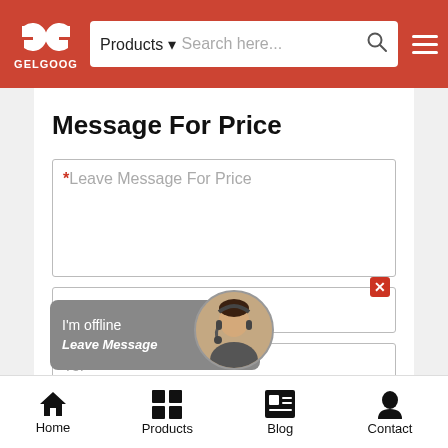[Figure (screenshot): GELGOOG website header with logo, search bar showing 'Products' dropdown and 'Search here...' placeholder, and hamburger menu icon on red background]
Message For Price
*Leave Message For Price (textarea input field)
*Email (input field with close button overlay)
Tel (input field)
[Figure (screenshot): Live chat widget showing 'I'm offline' and 'Leave Message' with customer service avatar]
Home | Products | Blog | Contact (bottom navigation bar)